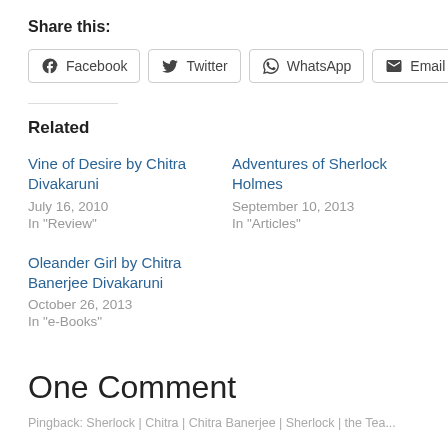Share this:
[Figure (other): Row of social share buttons: Facebook, Twitter, WhatsApp, Email]
Related
Vine of Desire by Chitra Divakaruni
July 16, 2010
In "Review"
Adventures of Sherlock Holmes
September 10, 2013
In "Articles"
Oleander Girl by Chitra Banerjee Divakaruni
October 26, 2013
In "e-Books"
One Comment
Pingback: Sherlock | Chitra | Chitra Banerjee | Sherlock | the Tea...